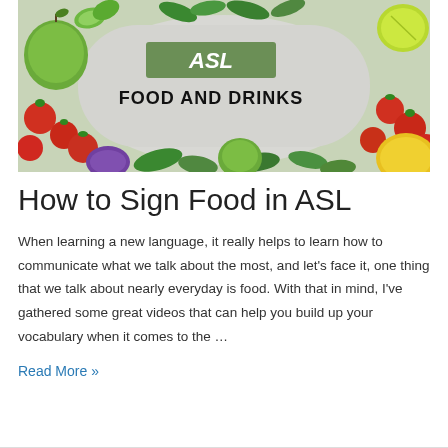[Figure (photo): Overhead flat-lay photo of colorful fruits and vegetables (tomatoes, apples, lime, spinach, cucumbers) arranged around the edges of a light grey surface. Center has a green rectangular banner with italic white text 'ASL' and below it bold black text 'FOOD AND DRINKS'.]
How to Sign Food in ASL
When learning a new language, it really helps to learn how to communicate what we talk about the most, and let’s face it, one thing that we talk about nearly everyday is food. With that in mind, I’ve gathered some great videos that can help you build up your vocabulary when it comes to the …
Read More »